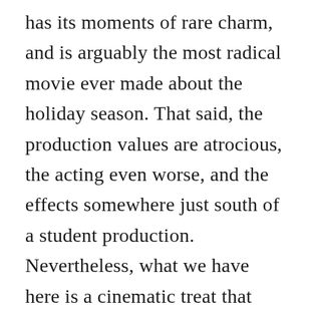has its moments of rare charm, and is arguably the most radical movie ever made about the holiday season. That said, the production values are atrocious, the acting even worse, and the effects somewhere just south of a student production. Nevertheless, what we have here is a cinematic treat that makes a direct link between religious fundamentalism and murder, though the eras conservatism sneaks through a bit whenever the clothes come off. Still, its undeniably entertaining as a period piece, and who on earth could judge a brutally ugly death march